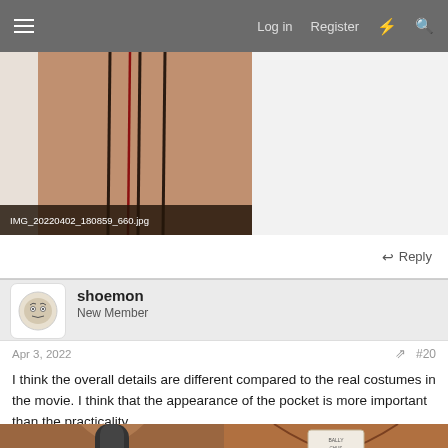Log in  Register
[Figure (photo): Close-up photo of leather or skin-like material with dark stitching lines, with filename caption 'IMG_20220402_180859_660.jpg']
↩ Reply
shoemon
New Member
Apr 3, 2022
#20
I think the overall details are different compared to the real costumes in the movie. I think that the appearance of the pocket is more important than the practicality.
[Figure (photo): Left photo: dark mannequin neck with brown leather collar visible. Right photo: brown leather collar with a white garment label/swatch.]